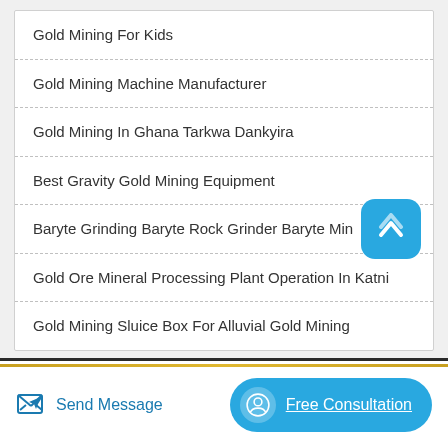Gold Mining For Kids
Gold Mining Machine Manufacturer
Gold Mining In Ghana Tarkwa Dankyira
Best Gravity Gold Mining Equipment
Baryte Grinding Baryte Rock Grinder Baryte Mining Machi…
Gold Ore Mineral Processing Plant Operation In Katni
Gold Mining Sluice Box For Alluvial Gold Mining
Send Message
Free Consultation